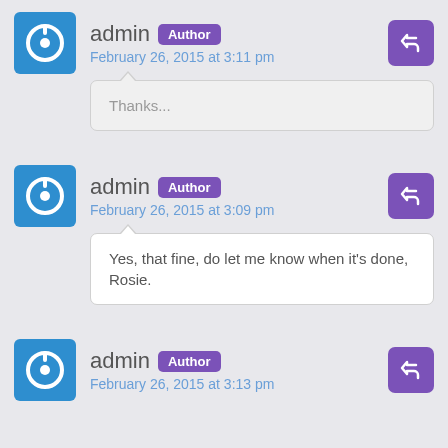admin Author — February 26, 2015 at 3:11 pm
Thanks...
admin Author — February 26, 2015 at 3:09 pm
Yes, that fine, do let me know when it's done, Rosie.
admin Author — February 26, 2015 at 3:13 pm